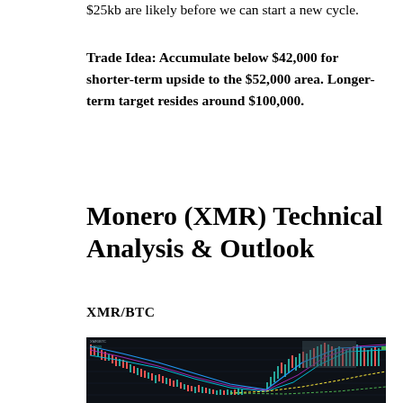$25kb are likely before we can start a new cycle.
Trade Idea: Accumulate below $42,000 for shorter-term upside to the $52,000 area. Longer-term target resides around $100,000.
Monero (XMR) Technical Analysis & Outlook
XMR/BTC
[Figure (screenshot): XMR/BTC candlestick chart with moving averages showing price action on dark background]